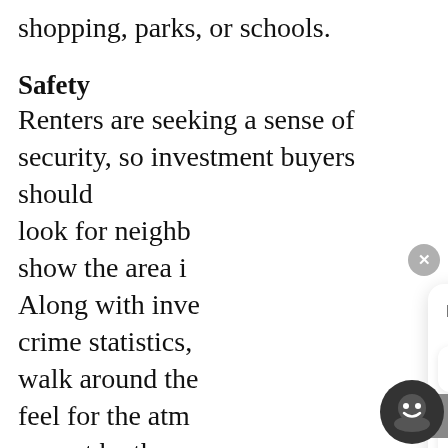shopping, parks, or schools.
Safety
Renters are seeking a sense of security, so investment buyers should look for neighb[orhoods that] show the area i[s improving.] Along with inve[stigating the] crime statistics, [buyers should] walk around the [area to get a] feel for the atm[osphere. If they] cannot be there [personally, a] trusted representative, like a professional from CoMax Properties,
[Figure (screenshot): Chat widget overlay with 'How can we help you?' prompt and two options: 'I need to sell my home fast' and 'I'm in no rush, but I do need a cash offer'. Includes a close button (X), up-arrow tab, and chat icon.]